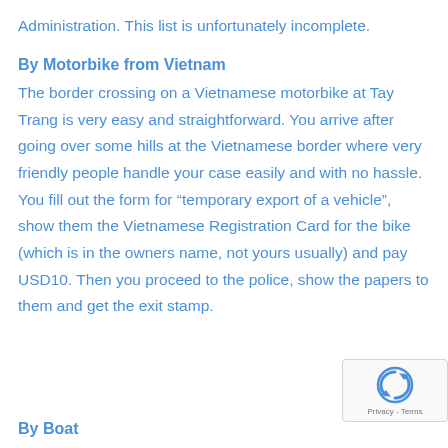Administration. This list is unfortunately incomplete.
By Motorbike from Vietnam
The border crossing on a Vietnamese motorbike at Tay Trang is very easy and straightforward. You arrive after going over some hills at the Vietnamese border where very friendly people handle your case easily and with no hassle. You fill out the form for “temporary export of a vehicle”, show them the Vietnamese Registration Card for the bike (which is in the owners name, not yours usually) and pay USD10. Then you proceed to the police, show the papers to them and get the exit stamp.
By Boat